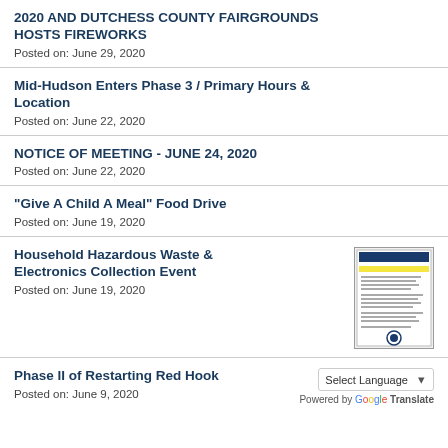2020 AND DUTCHESS COUNTY FAIRGROUNDS HOSTS FIREWORKS
Posted on: June 29, 2020
Mid-Hudson Enters Phase 3 / Primary Hours & Location
Posted on: June 22, 2020
NOTICE OF MEETING - JUNE 24, 2020
Posted on: June 22, 2020
"Give A Child A Meal" Food Drive
Posted on: June 19, 2020
Household Hazardous Waste & Electronics Collection Event
Posted on: June 19, 2020
[Figure (other): Thumbnail image of a document flyer for Household Hazardous Waste & Electronics Collection Event]
Phase II of Restarting Red Hook
Posted on: June 9, 2020